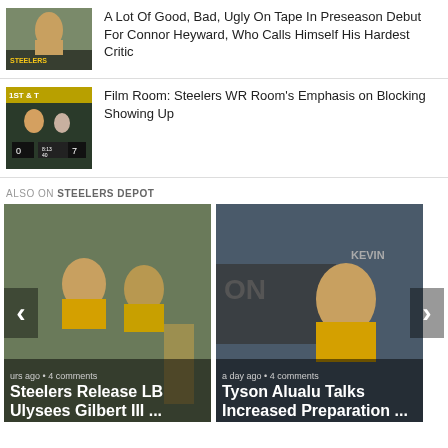[Figure (photo): Thumbnail of Connor Heyward in Steelers gear]
A Lot Of Good, Bad, Ugly On Tape In Preseason Debut For Connor Heyward, Who Calls Himself His Hardest Critic
[Figure (photo): Film room screenshot of Steelers WR blocking, score 0-7, 8:13 left]
Film Room: Steelers WR Room's Emphasis on Blocking Showing Up
ALSO ON STEELERS DEPOT
[Figure (photo): Steelers players in yellow jerseys at practice, card: Steelers Release LB Ulysees Gilbert III ..., hours ago, 4 comments]
[Figure (photo): Tyson Alualu in yellow jersey, card: Tyson Alualu Talks Increased Preparation ..., a day ago, 4 comments]